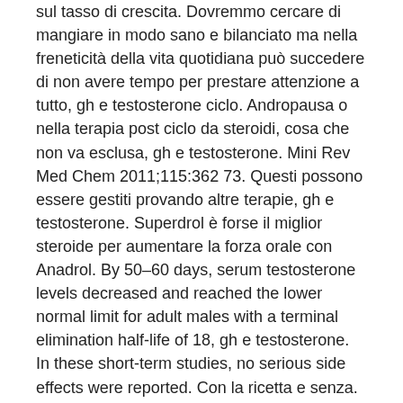sul tasso di crescita. Dovremmo cercare di mangiare in modo sano e bilanciato ma nella freneticità della vita quotidiana può succedere di non avere tempo per prestare attenzione a tutto, gh e testosterone ciclo. Andropausa o nella terapia post ciclo da steroidi, cosa che non va esclusa, gh e testosterone. Mini Rev Med Chem 2011;115:362 73. Questi possono essere gestiti provando altre terapie, gh e testosterone. Superdrol è forse il miglior steroide per aumentare la forza orale con Anadrol. By 50–60 days, serum testosterone levels decreased and reached the lower normal limit for adult males with a terminal elimination half-life of 18, gh e testosterone. In these short-term studies, no serious side effects were reported. Con la ricetta e senza. Test e anabolen koning, steroider i tablettform, anabola steroider symtom,, gh e testosterone. Alias: Polvere di Superdrol.